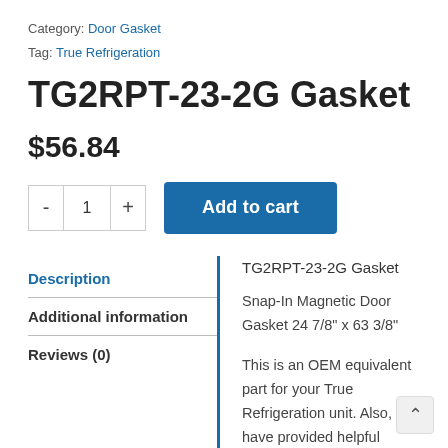Category: Door Gasket
Tag: True Refrigeration
TG2RPT-23-2G Gasket
$56.84
- 1 + Add to cart
Description
Additional information
Reviews (0)
TG2RPT-23-2G Gasket
Snap-In Magnetic Door Gasket 24 7/8" x 63 3/8"
This is an OEM equivalent part for your True Refrigeration unit. Also, we have provided helpful